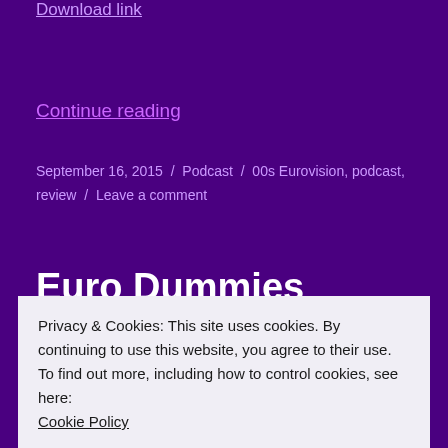Download link
Continue reading
September 16, 2015 / Podcast / 00s Eurovision, podcast, review / Leave a comment
Euro Dummies Podcast:
Privacy & Cookies: This site uses cookies. By continuing to use this website, you agree to their use.
To find out more, including how to control cookies, see here:
Cookie Policy
Close and accept